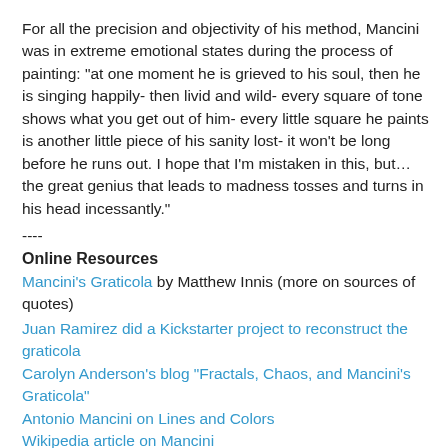For all the precision and objectivity of his method, Mancini was in extreme emotional states during the process of painting: "at one moment he is grieved to his soul, then he is singing happily- then livid and wild- every square of tone shows what you get out of him- every little square he paints is another little piece of his sanity lost- it won't be long before he runs out. I hope that I'm mistaken in this, but… the great genius that leads to madness tosses and turns in his head incessantly."
----
Online Resources
Mancini's Graticola by Matthew Innis (more on sources of quotes)
Juan Ramirez did a Kickstarter project to reconstruct the graticola
Carolyn Anderson's blog "Fractals, Chaos, and Mancini's Graticola"
Antonio Mancini on Lines and Colors
Wikipedia article on Mancini
Thanks to Darren Rousar for telling me about the graticola.
Exhibition Catalog: Antonio Mancini: Nineteenth-Century